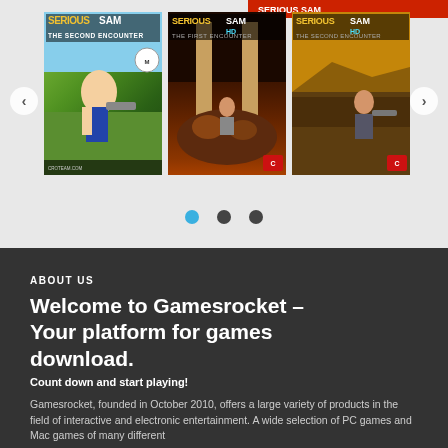[Figure (screenshot): Screenshot of Gamesrocket website showing a game cover carousel with three Serious Sam game covers visible, navigation arrows on left and right, and carousel dots below. A partial red banner visible at top right.]
ABOUT US
Welcome to Gamesrocket – Your platform for games download.
Count down and start playing!
Gamesrocket, founded in October 2010, offers a large variety of products in the field of interactive and electronic entertainment. A wide selection of PC games and Mac games of many different